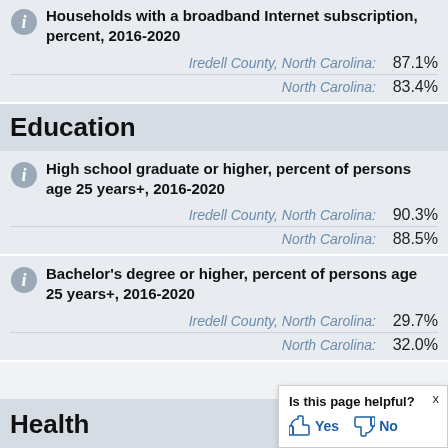Households with a broadband Internet subscription, percent, 2016-2020
Iredell County, North Carolina: 87.1%
North Carolina: 83.4%
Education
High school graduate or higher, percent of persons age 25 years+, 2016-2020
Iredell County, North Carolina: 90.3%
North Carolina: 88.5%
Bachelor's degree or higher, percent of persons age 25 years+, 2016-2020
Iredell County, North Carolina: 29.7%
North Carolina: 32.0%
Health